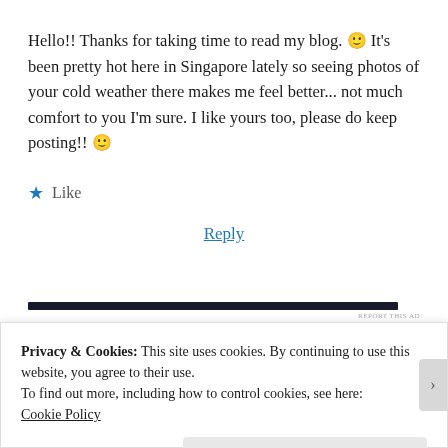Hello!! Thanks for taking time to read my blog. 🙂 It's been pretty hot here in Singapore lately so seeing photos of your cold weather there makes me feel better... not much comfort to you I'm sure. I like yours too, please do keep posting!! 🙂
★ Like
Reply
[Figure (other): Dark horizontal ad bar with 'REPORT THIS AD' label]
Privacy & Cookies: This site uses cookies. By continuing to use this website, you agree to their use. To find out more, including how to control cookies, see here: Cookie Policy
Close and accept